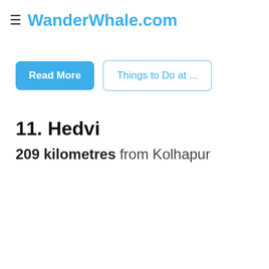≡ WanderWhale.com
Read More | Things to Do at ...
11. Hedvi
209 kilometres from Kolhapur